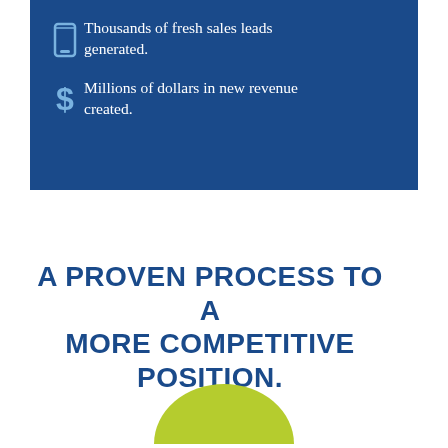Thousands of fresh sales leads generated.
Millions of dollars in new revenue created.
A PROVEN PROCESS TO A MORE COMPETITIVE POSITION.
[Figure (illustration): Green circular arc or pie shape partially visible at the bottom center of the page]